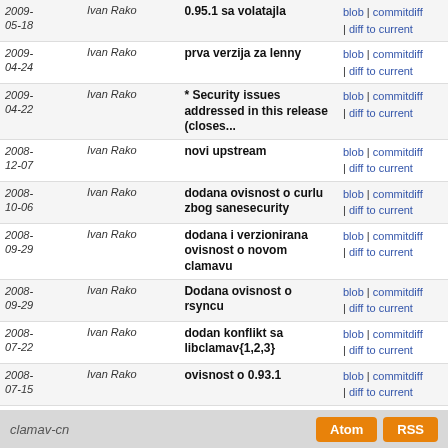| Date | Author | Message | Links |
| --- | --- | --- | --- |
| 2009-05-18 | Ivan Rako | 0.95.1 sa volatajla | blob | commitdiff | diff to current |
| 2009-04-24 | Ivan Rako | prva verzija za lenny | blob | commitdiff | diff to current |
| 2009-04-22 | Ivan Rako | * Security issues addressed in this release (closes... | blob | commitdiff | diff to current |
| 2008-12-07 | Ivan Rako | novi upstream | blob | commitdiff | diff to current |
| 2008-10-06 | Ivan Rako | dodana ovisnost o curlu zbog sanesecurity | blob | commitdiff | diff to current |
| 2008-09-29 | Ivan Rako | dodana i verzionirana ovisnost o novom clamavu | blob | commitdiff | diff to current |
| 2008-09-29 | Ivan Rako | Dodana ovisnost o rsyncu | blob | commitdiff | diff to current |
| 2008-07-22 | Ivan Rako | dodan konflikt sa libclamav{1,2,3} | blob | commitdiff | diff to current |
| 2008-07-15 | Ivan Rako | ovisnost o 0.93.1 | blob | commitdiff | diff to current |
| 2008-04-22 | Ivan Rako | * Ovisnost o najnovijoj verziji koja ispravlja nekoli... | blob | commitdiff | diff to current |
| 2008-03-19 | Ivan Rako | Uvoz u git: clamav-cn 3:0.92.1-1 | blob | commitdiff | diff to current |
| 2007-09-18 | Grupa za izradu... | r1: [svn-inject] Installing original source of clamav-cn | blob | commitdiff | diff to current |
clamav-cn  Atom  RSS